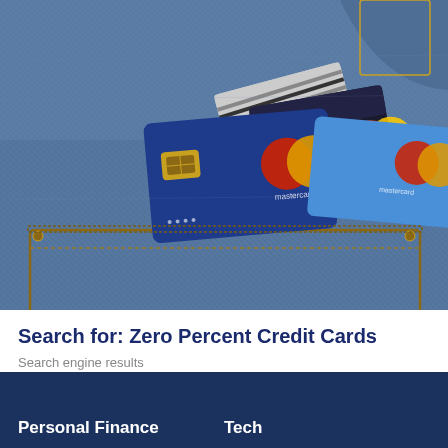[Figure (photo): Close-up photo of multiple credit cards (Mastercard branded) sticking out of a blue denim jeans back pocket]
Search for: Zero Percent Credit Cards
Search engine results
[Figure (photo): Dark blue denim jeans background used as footer]
Personal Finance
Tech